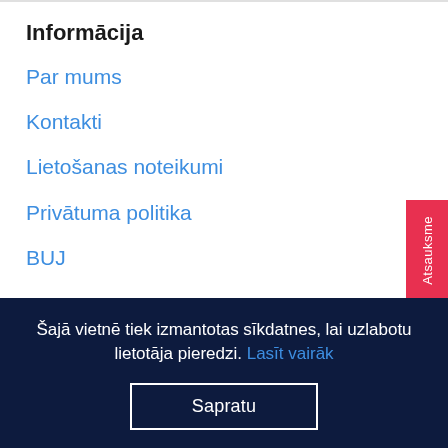Informācija
Par mums
Kontakti
Lietošanas noteikumi
Privātuma politika
BUJ
Jaunumi
Bl
Šajā vietnē tiek izmantotas sīkdatnes, lai uzlabotu lietotāja pieredzi. Lasīt vairāk
Sapratu